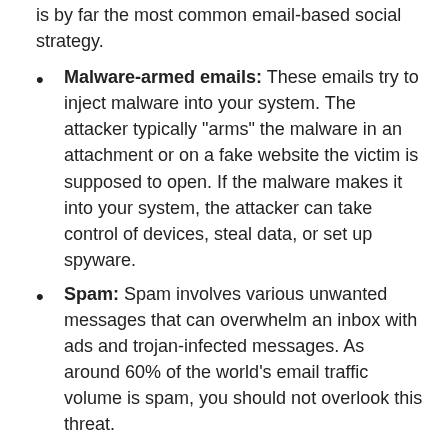is by far the most common email-based social strategy.
Malware-armed emails: These emails try to inject malware into your system. The attacker typically "arms" the malware in an attachment or on a fake website the victim is supposed to open. If the malware makes it into your system, the attacker can take control of devices, steal data, or set up spyware.
Spam: Spam involves various unwanted messages that can overwhelm an inbox with ads and trojan-infected messages. As around 60% of the world's email traffic volume is spam, you should not overlook this threat.
Ransomware: If a malicious email contains a ransomware program, a single employee opening the wrong email can enable an attacker to encrypt your data or devices.
Botnet messages: An infected email can turn your company's devices into a part of the botnet used to